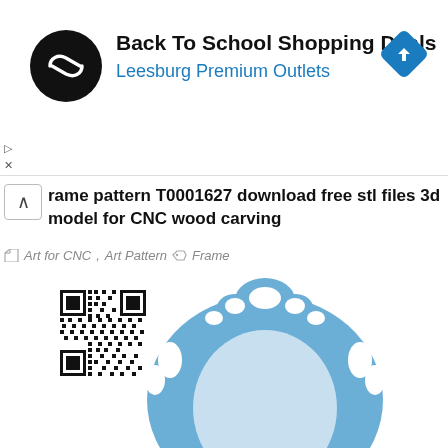[Figure (screenshot): Advertisement banner: Black circular logo with double-arrow icon, text 'Back To School Shopping Deals' in bold black, 'Leesburg Premium Outlets' in blue, and a blue diamond navigation icon on the right. Small play and X controls at left edge.]
Frame pattern T0001627 download free stl files 3d model for CNC wood carving
Art for CNC, Art Pattern   Frame
[Figure (photo): 3D render of an ornate baroque-style oval mirror frame in light blue color, with decorative filigree scrollwork at the top. The frame has an oval opening in the center. A QR code is visible in the upper-left area of the image.]